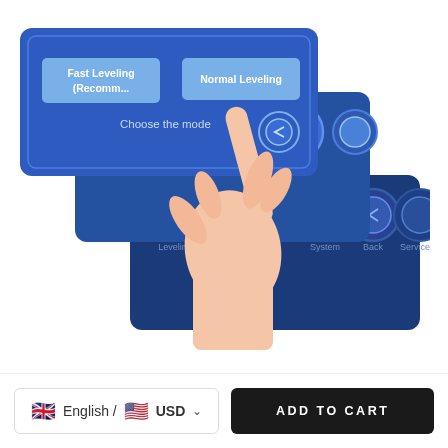[Figure (screenshot): Product photo showing a hand pointing at a blue touchscreen UI with multiple layered screens. Front screen shows 'Fast Leveling (Recommended)' and 'Normal Leveling' buttons with text 'Choose the leveling mode'. Lower screens show icon buttons labeled Leveling, Print, System, Back, Service.]
English / USD
ADD TO CART